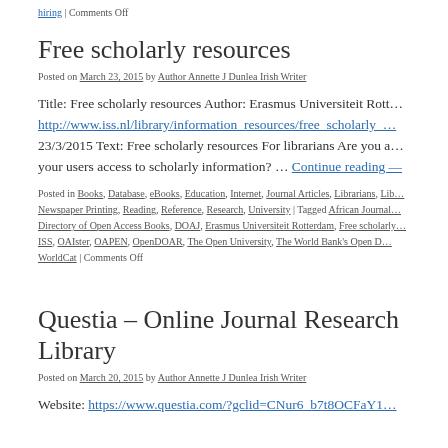hiring | Comments Off
Free scholarly resources
Posted on March 23, 2015 by Author Annette J Dunlea Irish Writer
Title: Free scholarly resources Author: Erasmus Universiteit Rotterdam http://www.iss.nl/library/information_resources/free_scholarly_... 23/3/2015 Text: Free scholarly resources For librarians Are you a... your users access to scholarly information? ... Continue reading —
Posted in Books, Database, eBooks, Education, Internet, Journal Articles, Librarians, Lib... Newspaper Printing, Reading, Reference, Research, University | Tagged African Journal... Directory of Open Access Books, DOAJ, Erasmus Universiteit Rotterdam, Free scholarly... ISS, OAIster, OAPEN, OpenDOAR, The Open University, The World Bank's Open D... WorldCat | Comments Off
Questia – Online Journal Research Library
Posted on March 20, 2015 by Author Annette J Dunlea Irish Writer
Website: https://www.questia.com/?gclid=CNur6_b7t8OCFaY1...